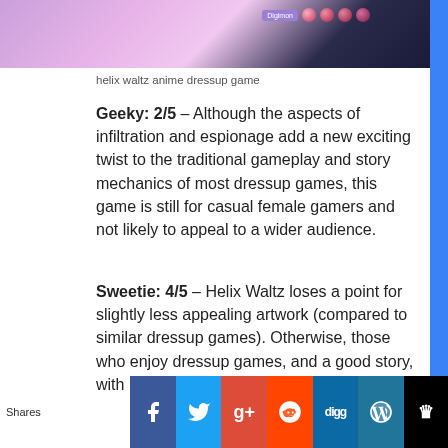[Figure (photo): Top portion of a helix waltz anime dressup game screenshot showing anime character with pink/purple tones and dark background, with a purple Digimon-style button and decorative pink dot icons on the right]
helix waltz anime dressup game
Geeky: 2/5 – Although the aspects of infiltration and espionage add a new exciting twist to the traditional gameplay and story mechanics of most dressup games, this game is still for casual female gamers and not likely to appeal to a wider audience.
Sweetie: 4/5 – Helix Waltz loses a point for slightly less appealing artwork (compared to similar dressup games). Otherwise, those who enjoy dressup games, and a good story, with
[Figure (screenshot): Social sharing bar at the bottom with Facebook, Twitter, Google+, Reddit, Digg, WordPress, and Crown share buttons, with a Shares label and red circle overlay]